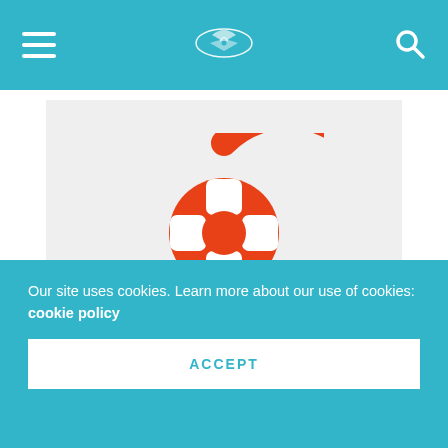Navigation bar with hamburger menu, site logo, and search icon
[Figure (logo): OpenCritic logo: orange circular gamepad/controller icon (C-shaped ring with D-pad cross inside) above the text 'OpenCritic' in dark bold sans-serif font, on a light gray background]
Our site uses cookies. Learn more about our use of cookies: cookie policy
ACCEPT